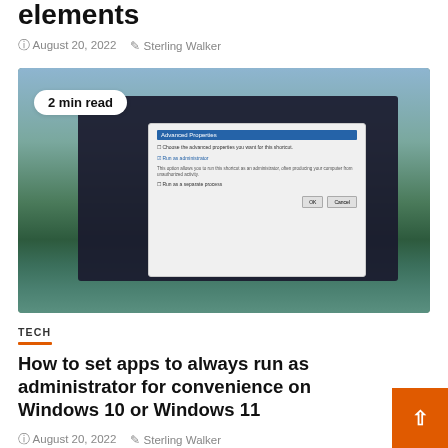elements
August 20, 2022   Sterling Walker
[Figure (screenshot): Screenshot of Windows file explorer and Command Prompt properties dialog showing Advanced Properties window with 'Run as administrator' option, overlaid on a scenic desktop wallpaper with lake and trees. Badge reads '2 min read'.]
TECH
How to set apps to always run as administrator for convenience on Windows 10 or Windows 11
August 20, 2022   Sterling Walker